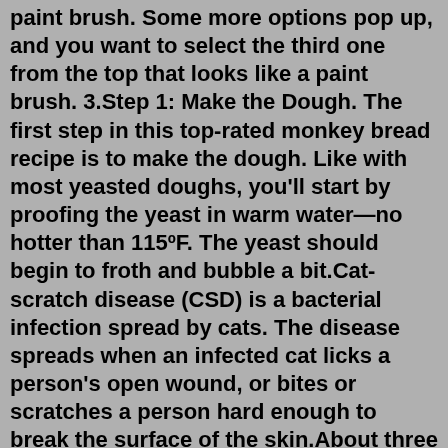paint brush. Some more options pop up, and you want to select the third one from the top that looks like a paint brush. 3.Step 1: Make the Dough. The first step in this top-rated monkey bread recipe is to make the dough. Like with most yeasted doughs, you'll start by proofing the yeast in warm water—no hotter than 115ºF. The yeast should begin to froth and bubble a bit.Cat-scratch disease (CSD) is a bacterial infection spread by cats. The disease spreads when an infected cat licks a person's open wound, or bites or scratches a person hard enough to break the surface of the skin.About three to 14 days after the skin is broken, a mild infection can occur at the site of the scratch or bite.A corneal abrasion is a scratch on your eye.It can happen in an instant. You poke your eye or something gets trapped under your eyelid, like dirt or sand. Your eye hurts, and it doesn't get ...Allow the paint to dry. Make sure all of the crayon is covered. It doesn't need to be too thick, however, you don't want any of the crayon peeking through the black paint. When the paper is completely dry (takes about an